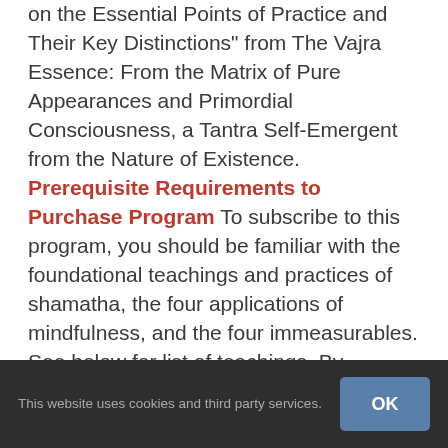on the Essential Points of Practice and Their Key Distinctions" from The Vajra Essence: From the Matrix of Pure Appearances and Primordial Consciousness, a Tantra Self-Emergent from the Nature of Existence. Prerequisite Requirements to Purchase Program To subscribe to this program, you should be familiar with the foundational teachings and practices of shamatha, the four applications of mindfulness, and the four immeasurables. See below for list of teachings. By purchasing you acknowledge that you have satisfied
This website uses cookies and third party services.